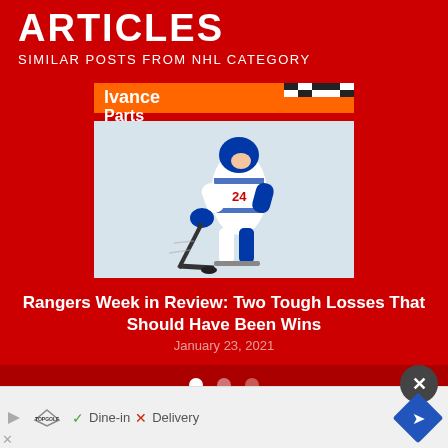ARTICLES
SIMILAR POSTS FROM NHL CATEGORY
[Figure (photo): Hockey player wearing NY Rangers jersey #24 skating on ice with a stick, with 'Advance Auto Parts' banner visible in background]
Rangers Week in Review: Two Tough Losses That Should Have Been Wins
January 23, 2021
[Figure (other): Advertisement bar: Topgolf logo with Dine-in checkmark and Delivery X, with map pin navigation icon and close button]